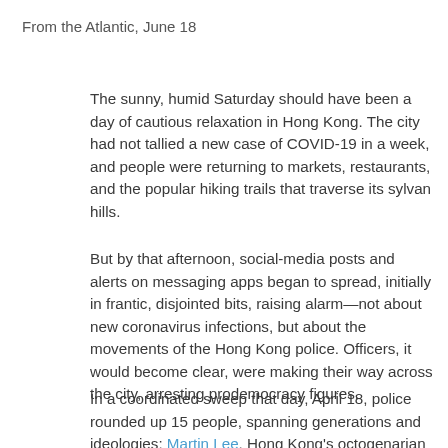From the Atlantic, June 18
The sunny, humid Saturday should have been a day of cautious relaxation in Hong Kong. The city had not tallied a new case of COVID-19 in a week, and people were returning to markets, restaurants, and the popular hiking trails that traverse its sylvan hills.
But by that afternoon, social-media posts and alerts on messaging apps began to spread, initially in frantic, disjointed bits, raising alarm—not about new coronavirus infections, but about the movements of the Hong Kong police. Officers, it would become clear, were making their way across the city, arresting prodemocracy figures.
In a coordinated sweep that day, April 18, police rounded up 15 people, spanning generations and ideologies: Martin Lee, Hong Kong's octogenarian “godfather of democracy,” was